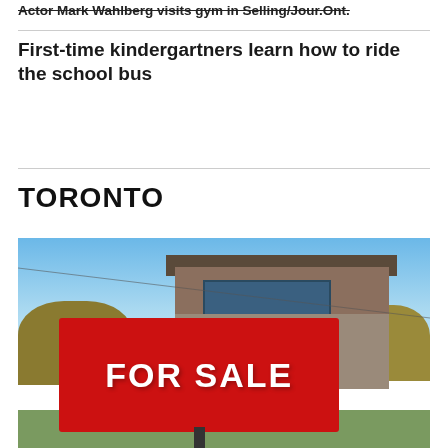Actor Mark Wahlberg visits gym in Selling/Jour.Ont.
First-time kindergartners learn how to ride the school bus
TORONTO
[Figure (photo): A real estate 'FOR SALE' sign in the foreground with a modern two-storey brick and stucco house in the background, trees on either side, blue sky.]